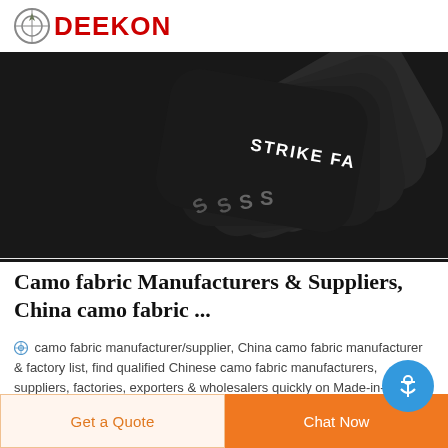DEEKON
[Figure (photo): Stack of black tactical strike face fabric panels/armor plates fanned out, with 'STRIKE FA...' text printed in white on the top panel, and 'S' letters visible on the others.]
Camo fabric Manufacturers & Suppliers, China camo fabric ...
camo fabric manufacturer/supplier, China camo fabric manufacturer & factory list, find qualified Chinese camo fabric manufacturers, suppliers, factories, exporters & wholesalers quickly on Made-in-China.com.
Get a Quote
Chat Now